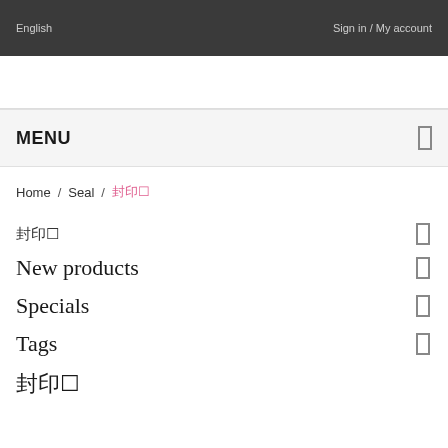English    Sign in / My account
MENU
Home / Seal / 封印☐
封印☐
New products
Specials
Tags
封印☐